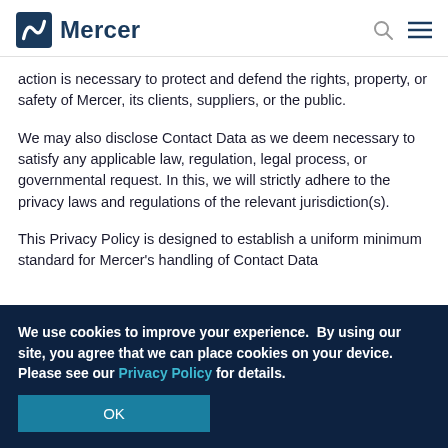Mercer
action is necessary to protect and defend the rights, property, or safety of Mercer, its clients, suppliers, or the public.
We may also disclose Contact Data as we deem necessary to satisfy any applicable law, regulation, legal process, or governmental request. In this, we will strictly adhere to the privacy laws and regulations of the relevant jurisdiction(s).
This Privacy Policy is designed to establish a uniform minimum standard for Mercer's handling of Contact Data
We use cookies to improve your experience.  By using our site, you agree that we can place cookies on your device. Please see our Privacy Policy for details.
OK